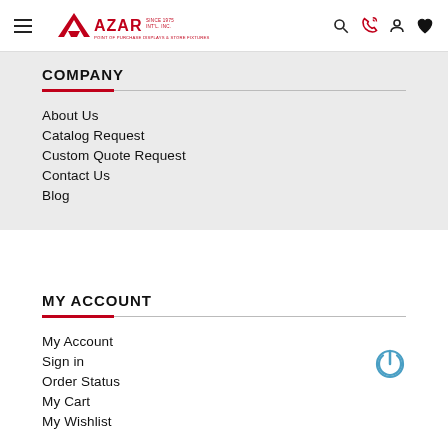Azar Displays — POINT OF PURCHASE DISPLAYS & STORE FIXTURES
COMPANY
About Us
Catalog Request
Custom Quote Request
Contact Us
Blog
MY ACCOUNT
My Account
Sign in
Order Status
My Cart
My Wishlist